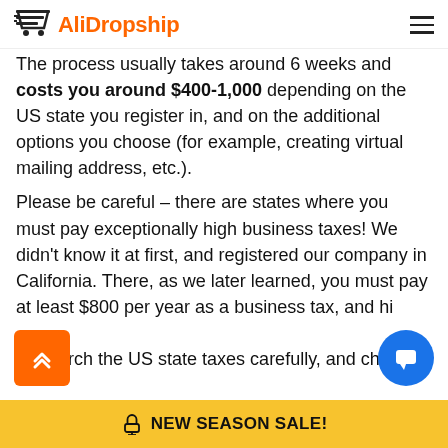AliDropship
The process usually takes around 6 weeks and costs you around $400-1,000 depending on the US state you register in, and on the additional options you choose (for example, creating virtual mailing address, etc.).
Please be careful – there are states where you must pay exceptionally high business taxes! We didn't know it at first, and registered our company in California. There, as we later learned, you must pay at least $800 per year as a business tax, and high taxes.
Research the US state taxes carefully before you start...
NEW SEASON SALE!